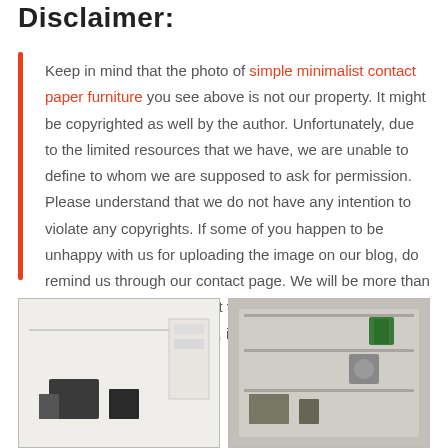Disclaimer:
Keep in mind that the photo of simple minimalist contact paper furniture you see above is not our property. It might be copyrighted as well by the author. Unfortunately, due to the limited resources that we have, we are unable to define to whom we are supposed to ask for permission. Please understand that we do not have any intention to violate any copyrights. If some of you happen to be unhappy with us for uploading the image on our blog, do remind us through our contact page. We will be more than happy to give proper credit to righteous authors or remove the image instead, if you want so.
[Figure (photo): Two small photos at the bottom of the page showing furniture/interior scenes]
[Figure (photo): Second photo showing interior shelving with items]